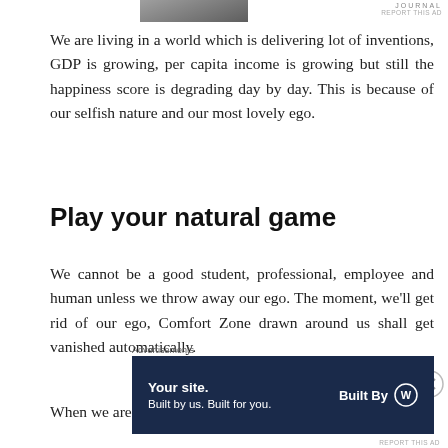[Figure (photo): Partial thumbnail photo at top of page showing a person outdoors]
JOURNAL
REPORT THIS AD
We are living in a world which is delivering lot of inventions, GDP is growing, per capita income is growing but still the happiness score is degrading day by day. This is because of our selfish nature and our most lovely ego.
Play your natural game
We cannot be a good student, professional, employee and human unless we throw away our ego. The moment, we'll get rid of our ego, Comfort Zone drawn around us shall get vanished automatically.
When we are not in the Comfort Zone, we are free from
Advertisements
[Figure (screenshot): Advertisement banner: dark navy background with text 'Your site. Built by us. Built for you.' and 'Built By' with WordPress logo]